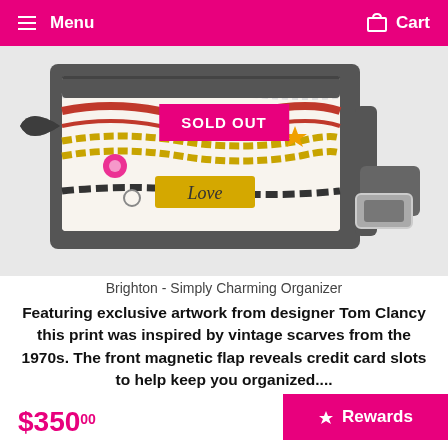Menu  Cart
[Figure (photo): Brighton Simply Charming Organizer bag with a dark grey exterior and a colorful chain/jewelry print panel on the front. A 'SOLD OUT' pink badge overlays the image. The bag has a shoulder strap with a silver buckle.]
Brighton - Simply Charming Organizer
Featuring exclusive artwork from designer Tom Clancy this print was inspired by vintage scarves from the 1970s. The front magnetic flap reveals credit card slots to help keep you organized....
$350 00
Rewards